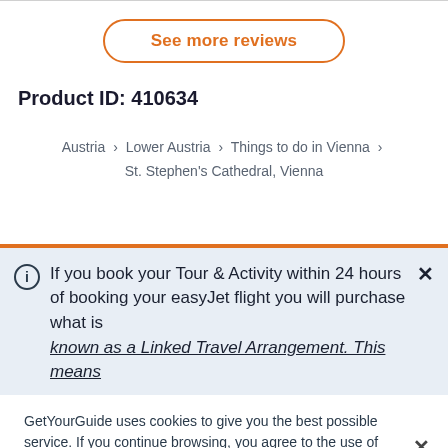[Figure (other): Button with rounded border labeled 'See more reviews' in orange text]
Product ID: 410634
Austria › Lower Austria › Things to do in Vienna › St. Stephen's Cathedral, Vienna
ⓘ If you book your Tour & Activity within 24 hours of booking your easyJet flight you will purchase what is known as a Linked Travel Arrangement. This means
GetYourGuide uses cookies to give you the best possible service. If you continue browsing, you agree to the use of cookies. More details can be found in our privacy policy.